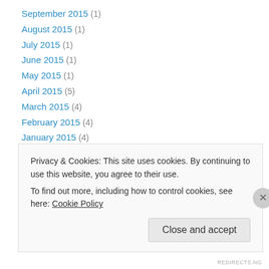September 2015 (1)
August 2015 (1)
July 2015 (1)
June 2015 (1)
May 2015 (1)
April 2015 (5)
March 2015 (4)
February 2015 (4)
January 2015 (4)
December 2014 (1)
January 2014 (3)
December 2013 (11)
May 2013 (3)
Privacy & Cookies: This site uses cookies. By continuing to use this website, you agree to their use.
To find out more, including how to control cookies, see here: Cookie Policy
REDIRECTS.NG